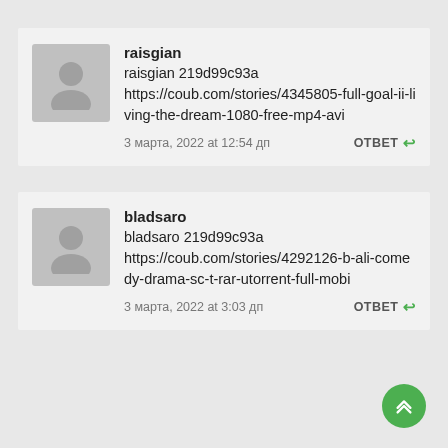raisgian
raisgian 219d99c93a
https://coub.com/stories/4345805-full-goal-ii-living-the-dream-1080-free-mp4-avi
3 марта, 2022 at 12:54 дп   ОТВЕТ
bladsaro
bladsaro 219d99c93a
https://coub.com/stories/4292126-b-ali-comedy-drama-sc-t-rar-utorrent-full-mobi
3 марта, 2022 at 3:03 дп   ОТВЕТ